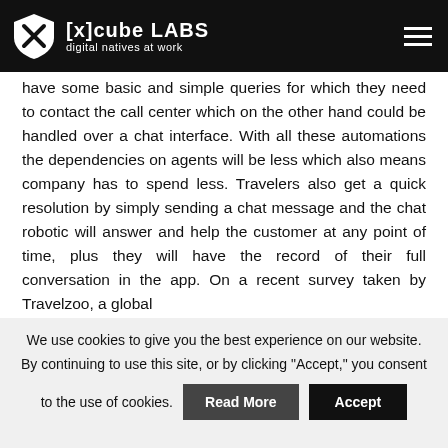[x]cube LABS digital natives at work
have some basic and simple queries for which they need to contact the call center which on the other hand could be handled over a chat interface. With all these automations the dependencies on agents will be less which also means company has to spend less. Travelers also get a quick resolution by simply sending a chat message and the chat robotic will answer and help the customer at any point of time, plus they will have the record of their full conversation in the app. On a recent survey taken by Travelzoo, a global
We use cookies to give you the best experience on our website. By continuing to use this site, or by clicking "Accept," you consent to the use of cookies.